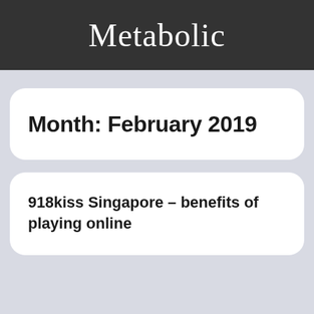Metabolic
Month: February 2019
918kiss Singapore – benefits of playing online